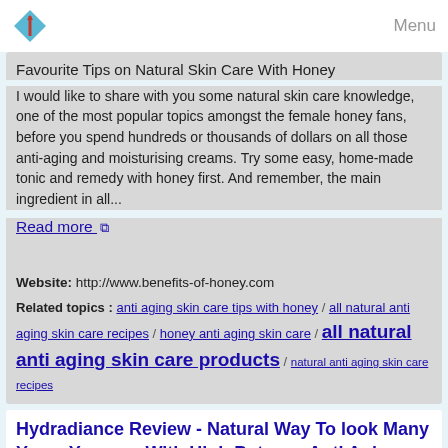Menu
Favourite Tips on Natural Skin Care With Honey
I would like to share with you some natural skin care knowledge, one of the most popular topics amongst the female honey fans, before you spend hundreds or thousands of dollars on all those anti-aging and moisturising creams. Try some easy, home-made tonic and remedy with honey first. And remember, the main ingredient in all...
Read more
Website: http://www.benefits-of-honey.com
Related topics : anti aging skin care tips with honey / all natural anti aging skin care recipes / honey anti aging skin care / all natural anti aging skin care products / natural anti aging skin care recipes
Hydradiance Review - Natural Way To look Many Years Younger With High Potency Anti Aging Serum
http://skin-care-institute.com/hydrad...